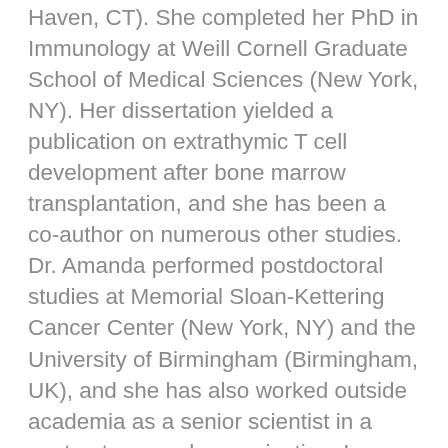Haven, CT). She completed her PhD in Immunology at Weill Cornell Graduate School of Medical Sciences (New York, NY). Her dissertation yielded a publication on extrathymic T cell development after bone marrow transplantation, and she has been a co-author on numerous other studies. Dr. Amanda performed postdoctoral studies at Memorial Sloan-Kettering Cancer Center (New York, NY) and the University of Birmingham (Birmingham, UK), and she has also worked outside academia as a senior scientist in a contract research organization. In addition to research articles, she has developed, written, and edited review articles, slide and poster presentations, grant applications, and client reports. Dr. Amanda enjoys helping authors overcome language barriers to present their research, and she is comfortable working with English-as-a-second-language (ESL) authors. She welcomes the opportunity to edit